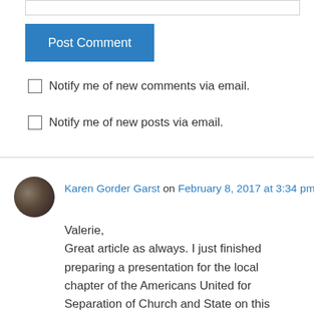[Figure (other): Text input box (comment form field)]
Post Comment
Notify me of new comments via email.
Notify me of new posts via email.
Karen Gorder Garst on February 8, 2017 at 3:34 pm
Valerie,
Great article as always. I just finished preparing a presentation for the local chapter of the Americans United for Separation of Church and State on this issue. I'm impressed that the NIV has finally got the translation of that passage in Numbers right. As you rightly point out, the